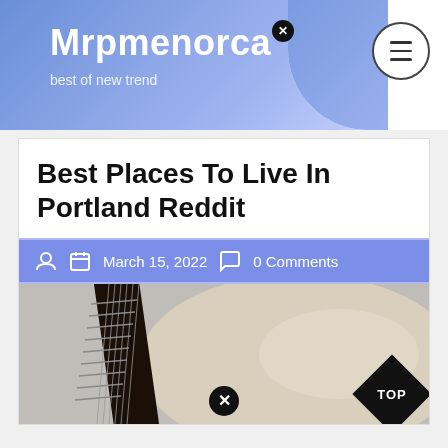Mrpmenorca — best of new trend
Best Places To Live In Portland Reddit
March 15, 2022   0 Comments
[Figure (photo): Photo showing a guitar neck/fretboard and a cream-colored pillow or fabric on a light background, with a black diamond 'TOP' badge in the lower right corner.]